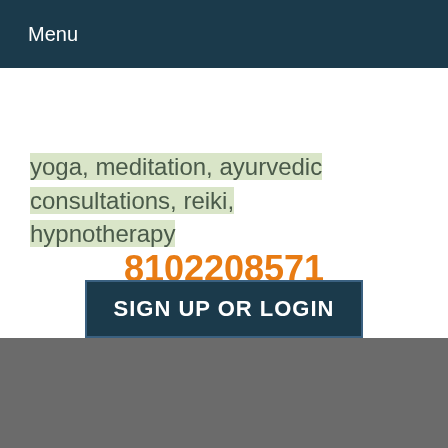Menu
yoga, meditation, ayurvedic consultations, reiki, hypnotherapy
8102208571
SIGN UP OR LOGIN